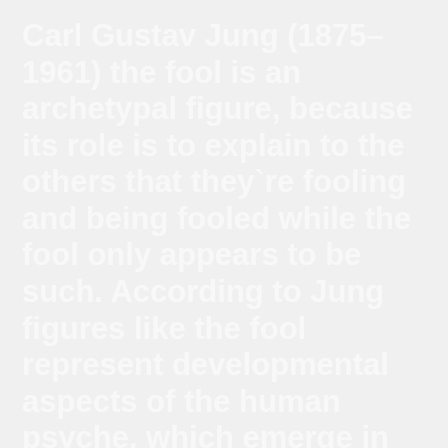Carl Gustav Jung (1875–1961) the fool is an archetypal figure, because its role is to explain to the others that they`re fooling and being fooled while the fool only appears to be such. According to Jung figures like the fool represent developmental aspects of the human psyche, which emerge in the course of development to inspire growth, either as cultural figures or through the imaginative products of art. Emerging through dreams, Jung describes such figures and symbols at the medium of the collective archetypes of the